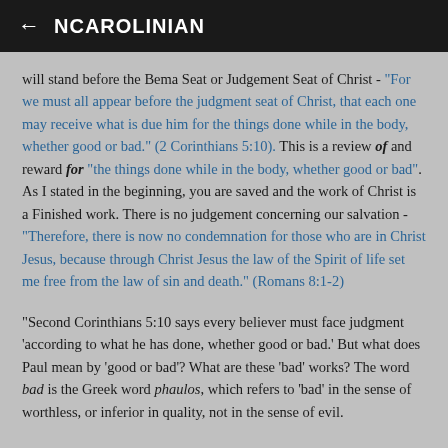← NCAROLINIAN
will stand before the Bema Seat or Judgement Seat of Christ - "For we must all appear before the judgment seat of Christ, that each one may receive what is due him for the things done while in the body, whether good or bad." (2 Corinthians 5:10). This is a review of and reward for "the things done while in the body, whether good or bad". As I stated in the beginning, you are saved and the work of Christ is a Finished work. There is no judgement concerning our salvation - "Therefore, there is now no condemnation for those who are in Christ Jesus, because through Christ Jesus the law of the Spirit of life set me free from the law of sin and death." (Romans 8:1-2)
"Second Corinthians 5:10 says every believer must face judgment 'according to what he has done, whether good or bad.' But what does Paul mean by 'good or bad'? What are these 'bad' works? The word bad is the Greek word phaulos, which refers to 'bad' in the sense of worthless, or inferior in quality, not in the sense of evil.